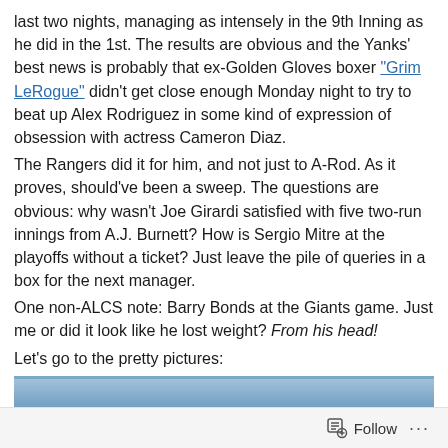last two nights, managing as intensely in the 9th Inning as he did in the 1st. The results are obvious and the Yanks' best news is probably that ex-Golden Gloves boxer "Grim LeRogue" didn't get close enough Monday night to try to beat up Alex Rodriguez in some kind of expression of obsession with actress Cameron Diaz.
The Rangers did it for him, and not just to A-Rod. As it proves, should've been a sweep. The questions are obvious: why wasn't Joe Girardi satisfied with five two-run innings from A.J. Burnett? How is Sergio Mitre at the playoffs without a ticket? Just leave the pile of queries in a box for the next manager.
One non-ALCS note: Barry Bonds at the Giants game. Just me or did it look like he lost weight? From his head!
Let's go to the pretty pictures:
[Figure (photo): Baseball stadium crowd scene showing several spectators sitting in blue stadium seats. A bald older man in a tan jacket is prominent in the center-left; other figures including a person in a red shirt and one wearing a blue cap are visible.]
Follow ···